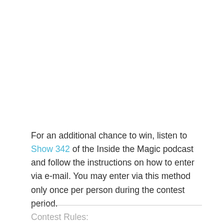For an additional chance to win, listen to Show 342 of the Inside the Magic podcast and follow the instructions on how to enter via e-mail. You may enter via this method only once per person during the contest period.
Contest Rules: